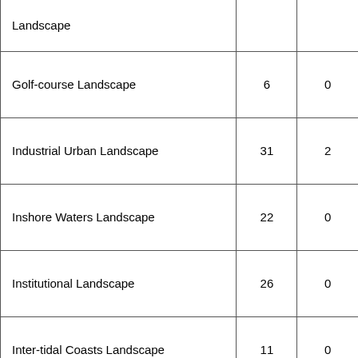| Landscape Type | Col1 | Col2 |
| --- | --- | --- |
| Landscape |  |  |
| Golf-course Landscape | 6 | 0 |
| Industrial Urban Landscape | 31 | 2 |
| Inshore Waters Landscape | 22 | 0 |
| Institutional Landscape | 26 | 0 |
| Inter-tidal Coasts Landscape | 11 | 0 |
| Island Landscape | 38 | 0 |
| Late 20C/Early 21C High-rise Commercial/Residential Complex Landscapes | 8 | 0 |